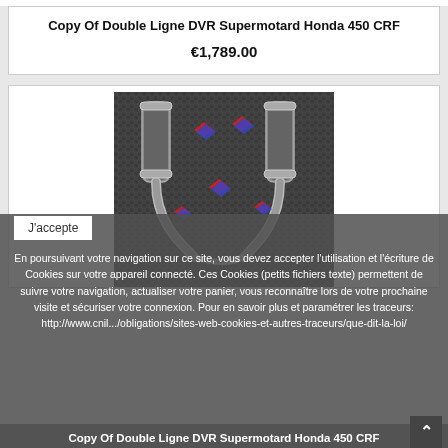Copy Of Double Ligne DVR Supermotard Honda 450 CRF
€1,789.00
[Figure (photo): Product photo of double exhaust pipes/silencers for Honda 450 CRF Supermotard, shown against a carbon fiber background with DVR logos]
En poursuivant votre navigation sur ce site, vous devez accepter l'utilisation et l'écriture de Cookies sur votre appareil connecté. Ces Cookies (petits fichiers texte) permettent de suivre votre navigation, actualiser votre panier, vous reconnaître lors de votre prochaine visite et sécuriser votre connexion. Pour en savoir plus et paramétrer les traceurs: http://www.cnil.../obligations/sites-web-cookies-et-autres-traceurs/que-dit-la-loi/
J'accepte
Copy Of Double Ligne DVR Supermotard Honda 450 CRF